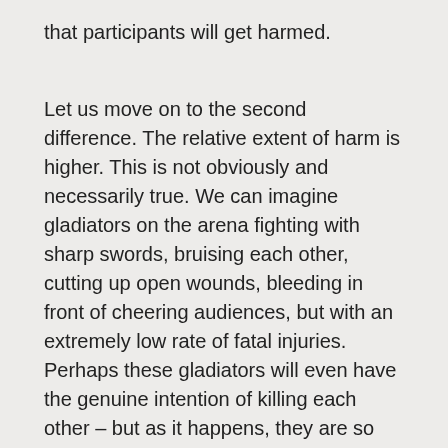that participants will get harmed.
Let us move on to the second difference. The relative extent of harm is higher. This is not obviously and necessarily true. We can imagine gladiators on the arena fighting with sharp swords, bruising each other, cutting up open wounds, bleeding in front of cheering audiences, but with an extremely low rate of fatal injuries. Perhaps these gladiators will even have the genuine intention of killing each other – but as it happens, they are so skilled at defending themselves so that no one ever succeeds. We would still disapprove. The mere risk of fatalities would be enough reason for us to object to two men swinging sharp swords at each other. Yet, even if it we were certain that the harm is lesser in professional sports